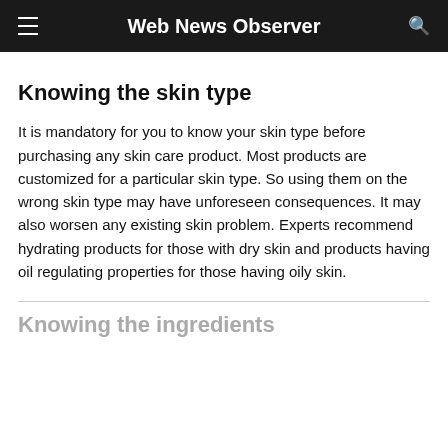Web News Observer
Knowing the skin type
It is mandatory for you to know your skin type before purchasing any skin care product. Most products are customized for a particular skin type. So using them on the wrong skin type may have unforeseen consequences. It may also worsen any existing skin problem. Experts recommend hydrating products for those with dry skin and products having oil regulating properties for those having oily skin.
Knowing the ingredients